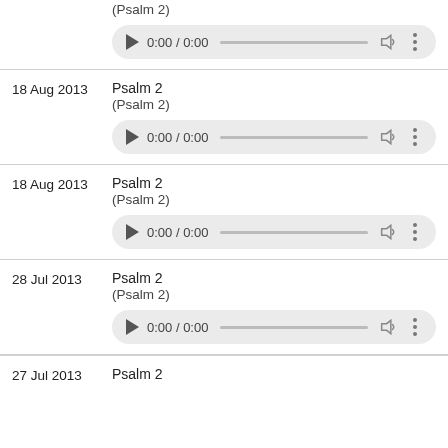(Psalm 2)
[Figure (screenshot): Audio player showing 0:00 / 0:00 with play button, progress bar, volume icon, and more options]
18 Aug 2013
Psalm 2
(Psalm 2)
[Figure (screenshot): Audio player showing 0:00 / 0:00 with play button, progress bar, volume icon, and more options]
18 Aug 2013
Psalm 2
(Psalm 2)
[Figure (screenshot): Audio player showing 0:00 / 0:00 with play button, progress bar, volume icon, and more options]
28 Jul 2013
Psalm 2
(Psalm 2)
[Figure (screenshot): Audio player showing 0:00 / 0:00 with play button, progress bar, volume icon, and more options]
27 Jul 2013 ...